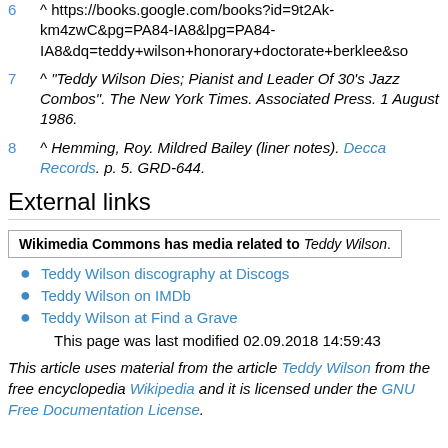6 ^ https://books.google.com/books?id=9t2Ak-km4zwC&pg=PA84-IA8&lpg=PA84-IA8&dq=teddy+wilson+honorary+doctorate+berklee&so
7 ^ "Teddy Wilson Dies; Pianist and Leader Of 30's Jazz Combos". The New York Times. Associated Press. 1 August 1986.
8 ^ Hemming, Roy. Mildred Bailey (liner notes). Decca Records. p. 5. GRD-644.
External links
Wikimedia Commons has media related to Teddy Wilson.
Teddy Wilson discography at Discogs
Teddy Wilson on IMDb
Teddy Wilson at Find a Grave
This page was last modified 02.09.2018 14:59:43
This article uses material from the article Teddy Wilson from the free encyclopedia Wikipedia and it is licensed under the GNU Free Documentation License.